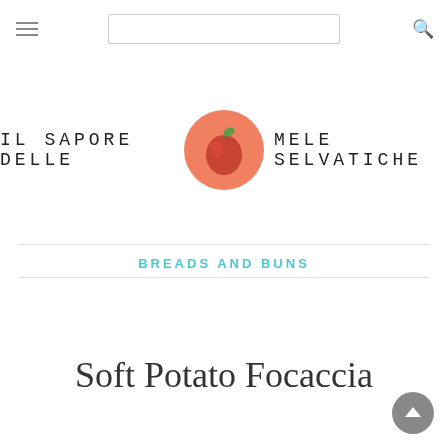Navigation bar with hamburger menu and search box
[Figure (logo): IL SAPORE DELLE MELE SELVATICHE blog logo with apple illustration in orange circle]
BREADS AND BUNS
Soft Potato Focaccia